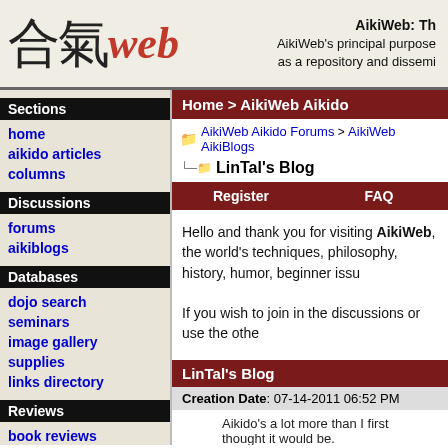AikiWeb: Th... AikiWeb's principal purpose as a repository and dissemi...
Sections
home
aikido articles
columns
Discussions
forums
aikiblogs
Databases
dojo search
seminars
image gallery
supplies
links directory
Reviews
book reviews
Home > AikiWeb Aikido
AikiWeb Aikido Forums > AikiWeb AikiBlogs
LinTal's Blog
Register   FAQ
Hello and thank you for visiting AikiWeb, the world's techniques, philosophy, history, humor, beginner issu...
If you wish to join in the discussions or use the othe...
LinTal's Blog
Creation Date: 07-14-2011 06:52 PM
Aikido's a lot more than I first thought it would be.
LinTal
Offline